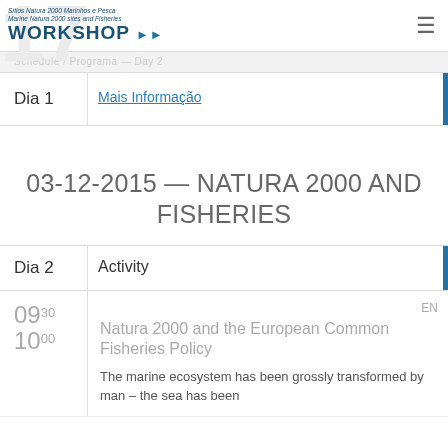Sítios Natura 2000 Marinhos e Pesca / Marine Natura 2000 sites and Fisheries — WORKSHOP
Dia 1 — Mais Informação
03-12-2015 — NATURA 2000 AND FISHERIES
Dia 2 — Activity
09:30 10:00 — EN — Natura 2000 and the European Common Fisheries Policy — The marine ecosystem has been grossly transformed by man – the sea has been